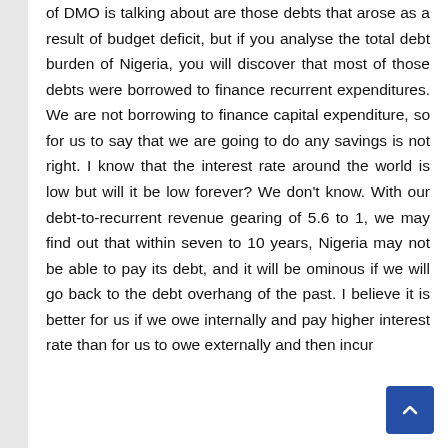of DMO is talking about are those debts that arose as a result of budget deficit, but if you analyse the total debt burden of Nigeria, you will discover that most of those debts were borrowed to finance recurrent expenditures. We are not borrowing to finance capital expenditure, so for us to say that we are going to do any savings is not right. I know that the interest rate around the world is low but will it be low forever? We don't know. With our debt-to-recurrent revenue gearing of 5.6 to 1, we may find out that within seven to 10 years, Nigeria may not be able to pay its debt, and it will be ominous if we will go back to the debt overhang of the past. I believe it is better for us if we owe internally and pay higher interest rate than for us to owe externally and then incur